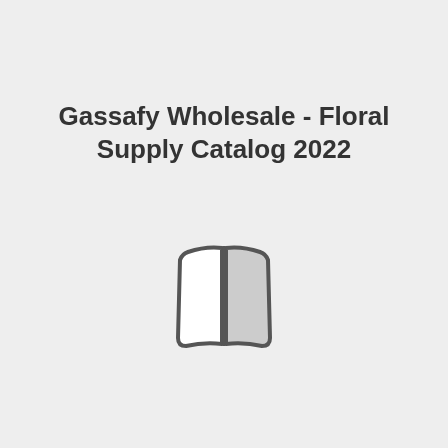Gassafy Wholesale - Floral Supply Catalog 2022
[Figure (illustration): A book or catalog icon rendered as two open pages/covers viewed from the spine, drawn with rounded rectangles in gray outline style]